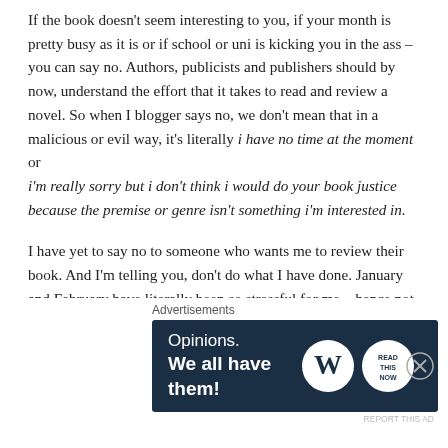If the book doesn't seem interesting to you, if your month is pretty busy as it is or if school or uni is kicking you in the ass – you can say no. Authors, publicists and publishers should by now, understand the effort that it takes to read and review a novel. So when I blogger says no, we don't mean that in a malicious or evil way, it's literally i have no time at the moment or i'm really sorry but i don't think i would do your book justice because the premise or genre isn't something i'm interested in.
I have yet to say no to someone who wants me to review their book. And I'm telling you, don't do what I have done. January and February have literally been so stressful for me – hence not being active here and on twitter – because there's always a book I need to read or a review I need to write and I don't have time for
Advertisements
[Figure (infographic): Advertisement banner with dark navy background. Text reads 'Opinions. We all have them!' with WordPress logo and Read Now logo on the right.]